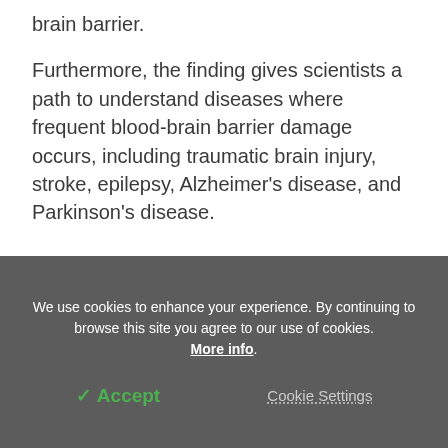brain barrier.
Furthermore, the finding gives scientists a path to understand diseases where frequent blood-brain barrier damage occurs, including traumatic brain injury, stroke, epilepsy, Alzheimer's disease, and Parkinson's disease.
“Blood-brain barrier leakage is a problem in the aging brain as well as many different
We use cookies to enhance your experience. By continuing to browse this site you agree to our use of cookies. More info.
✔ Accept
Cookie Settings